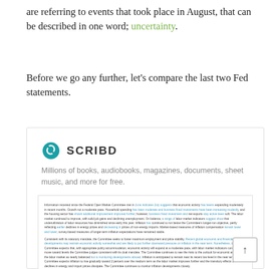are referring to events that took place in August, that can be described in one word; uncertainty.
Before we go any further, let's compare the last two Fed statements.
[Figure (screenshot): Scribd embedded document viewer showing SCRIBD logo, tagline 'Millions of books, audiobooks, magazines, documents, sheet music, and more for free.' and an embedded Federal Open Market Committee document excerpt with Federal Reserve policy text.]